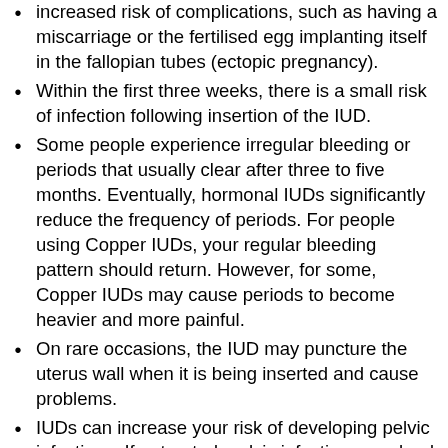increased risk of complications, such as having a miscarriage or the fertilised egg implanting itself in the fallopian tubes (ectopic pregnancy).
Within the first three weeks, there is a small risk of infection following insertion of the IUD.
Some people experience irregular bleeding or periods that usually clear after three to five months. Eventually, hormonal IUDs significantly reduce the frequency of periods. For people using Copper IUDs, your regular bleeding pattern should return. However, for some, Copper IUDs may cause periods to become heavier and more painful.
On rare occasions, the IUD may puncture the uterus wall when it is being inserted and cause problems.
IUDs can increase your risk of developing pelvic infections. If untreated, pelvic infections can lead to a loss of fertility, amongst other problems. For